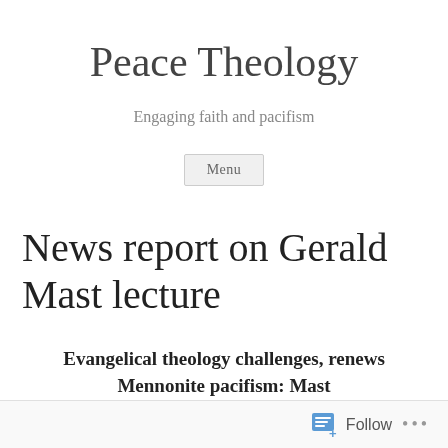Peace Theology
Engaging faith and pacifism
Menu
News report on Gerald Mast lecture
Evangelical theology challenges, renews Mennonite pacifism: Mast
BLUFFTON, Ohio — Evangelical theology has a "
Follow ...